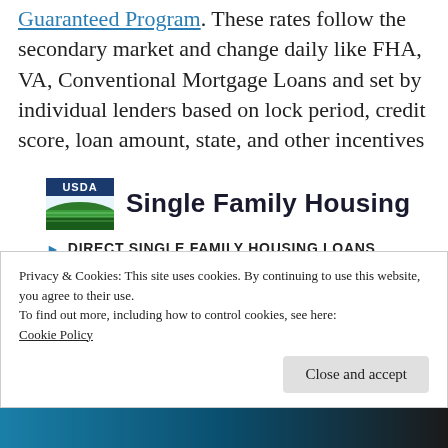Guaranteed Program. These rates follow the secondary market and change daily like FHA, VA, Conventional Mortgage Loans and set by individual lenders based on lock period, credit score, loan amount, state, and other incentives
[Figure (logo): USDA Single Family Housing logo with green landscape graphic and bold text]
DIRECT SINGLE FAMILY HOUSING LOANS
The program offers home loans to lower income individuals who are unable to obtain credit
Privacy & Cookies: This site uses cookies. By continuing to use this website, you agree to their use.
To find out more, including how to control cookies, see here: Cookie Policy
Close and accept